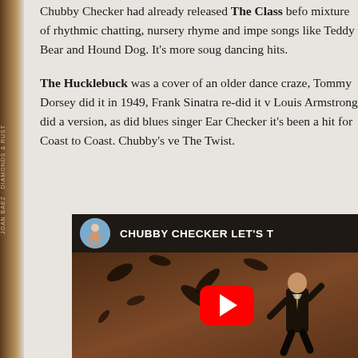Chubby Checker had already released The Class before — mixture of rhythmic chatting, nursery rhyme and impersonation of songs like Teddy Bear and Hound Dog. It's more sough than dancing hits.
The Hucklebuck was a cover of an older dance craze, Tommy Dorsey did it in 1949, Frank Sinatra re-did it, Louis Armstrong did a version, as did blues singer Earl. Checker it's been a hit for Coast to Coast. Chubby's version preceded The Twist.
[Figure (screenshot): YouTube video thumbnail showing Chubby Checker Let's Twist video, with channel avatar, video title text 'CHUBBY CHECKER LET'S T...' and a red YouTube play button over a sepia-toned performance image]